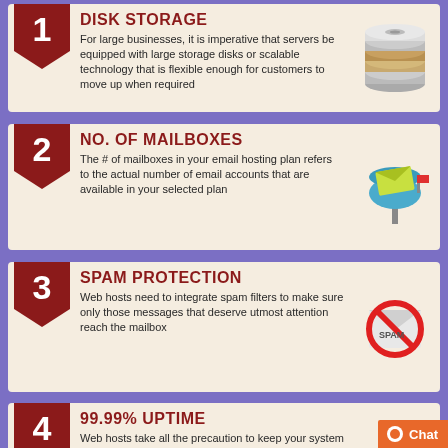1 DISK STORAGE - For large businesses, it is imperative that servers be equipped with large storage disks or scalable technology that is flexible enough for customers to move up when required
2 NO. OF MAILBOXES - The # of mailboxes in your email hosting plan refers to the actual number of email accounts that are available in your selected plan
3 SPAM PROTECTION - Web hosts need to integrate spam filters to make sure only those messages that deserve utmost attention reach the mailbox
4 99.99% UPTIME - Web hosts take all the precaution to keep your system up on a 24/7 basis. Hosting enterprises do have spooling technology to prevent email bounces